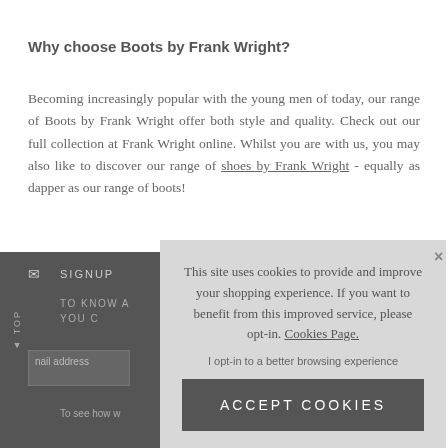Why choose Boots by Frank Wright?
Becoming increasingly popular with the young men of today, our range of Boots by Frank Wright offer both style and quality. Check out our full collection at Frank Wright online. Whilst you are with us, you may also like to discover our range of shoes by Frank Wright - equally as dapper as our range of boots!
[Figure (screenshot): Footer section with dark grey background showing SIGNUP, TO KNOW A, YOU C text, envelope icon, TOP label rotated vertically, email address input field, and To see how w... text]
[Figure (screenshot): Cookie consent overlay panel on light grey background with text: 'This site uses cookies to provide and improve your shopping experience. If you want to benefit from this improved service, please opt-in. Cookies Page.' and 'I opt-in to a better browsing experience' link and ACCEPT COOKIES button]